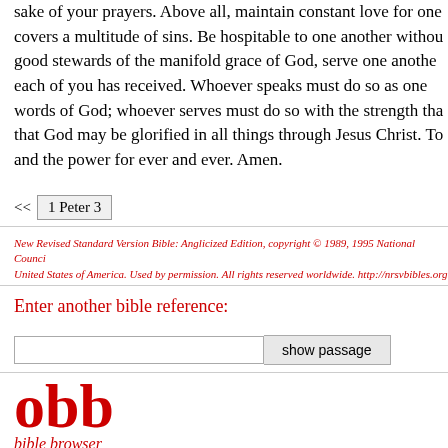sake of your prayers. Above all, maintain constant love for one another, for love covers a multitude of sins. Be hospitable to one another without complaining. Like good stewards of the manifold grace of God, serve one another with whatever gift each of you has received. Whoever speaks must do so as one speaking the very words of God; whoever serves must do so with the strength that God supplies, so that God may be glorified in all things through Jesus Christ. To him belong the glory and the power for ever and ever. Amen.
<< 1 Peter 3
New Revised Standard Version Bible: Anglicized Edition, copyright © 1989, 1995 National Council of the Churches of Christ in the United States of America. Used by permission. All rights reserved worldwide. http://nrsvbibles.org
Enter another bible reference:
show passage
obb
bible browser
biblemail@oremus.org
v 2.9.2
30 June 2021